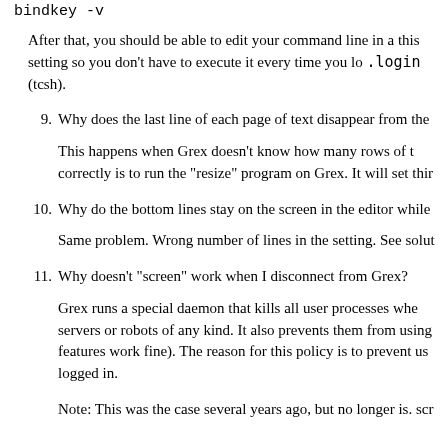bindkey -v
After that, you should be able to edit your command line in a this setting so you don't have to execute it every time you lo .login (tcsh).
9. Why does the last line of each page of text disappear from the
This happens when Grex doesn't know how many rows of t correctly is to run the "resize" program on Grex. It will set thir
10. Why do the bottom lines stay on the screen in the editor while
Same problem. Wrong number of lines in the setting. See solut
11. Why doesn't "screen" work when I disconnect from Grex?
Grex runs a special daemon that kills all user processes whe servers or robots of any kind. It also prevents them from using features work fine). The reason for this policy is to prevent us logged in.
Note: This was the case several years ago, but no longer is. scr